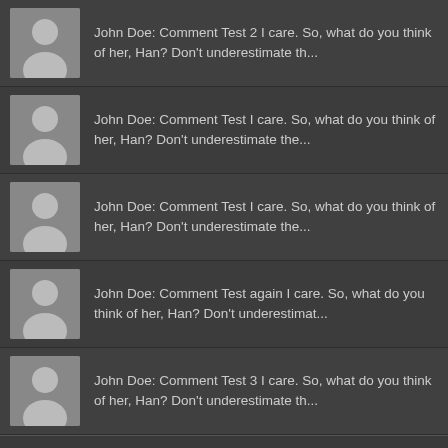John Doe: Comment Test 2 I care. So, what do you think of her, Han? Don't underestimate th...
John Doe: Comment Test I care. So, what do you think of her, Han? Don't underestimate the...
John Doe: Comment Test I care. So, what do you think of her, Han? Don't underestimate the...
John Doe: Comment Test again I care. So, what do you think of her, Han? Don't underestimat...
John Doe: Comment Test 3 I care. So, what do you think of her, Han? Don't underestimate th...
Powered by Vnexpress News | Designed by Vnexpress News
© Copyright 2022, All Rights Reserved